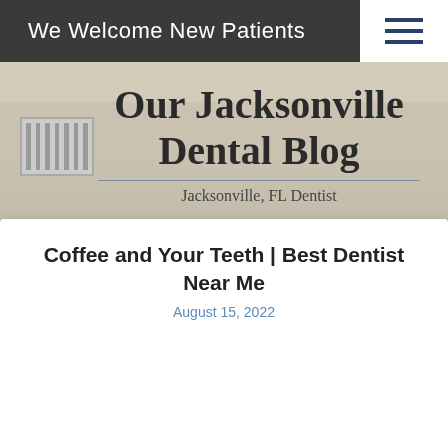We Welcome New Patients
[Figure (photo): Dental office interior background with air vent visible, overlaid with blog title 'Our Jacksonville Dental Blog' and subtitle 'Jacksonville, FL Dentist']
Coffee and Your Teeth | Best Dentist Near Me
August 15, 2022